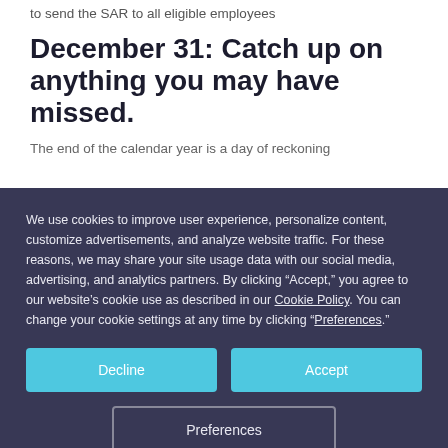to send the SAR to all eligible employees
December 31: Catch up on anything you may have missed.
The end of the calendar year is a day of reckoning
We use cookies to improve user experience, personalize content, customize advertisements, and analyze website traffic. For these reasons, we may share your site usage data with our social media, advertising, and analytics partners. By clicking “Accept,” you agree to our website’s cookie use as described in our Cookie Policy. You can change your cookie settings at any time by clicking “Preferences.”
Decline
Accept
Preferences